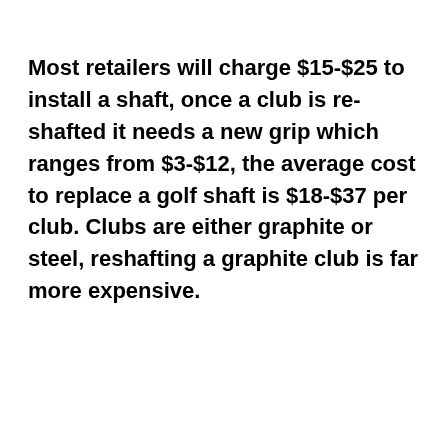Most retailers will charge $15-$25 to install a shaft, once a club is re-shafted it needs a new grip which ranges from $3-$12, the average cost to replace a golf shaft is $18-$37 per club. Clubs are either graphite or steel, reshafting a graphite club is far more expensive.